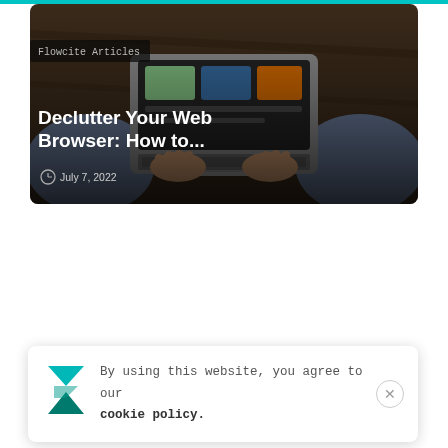[Figure (photo): Overhead view of a person sitting cross-legged on a wooden floor using a laptop. The laptop screen shows images. The person's hands are on the keyboard. Text overlay includes 'Flowcite Articles' badge, title 'Declutter Your Web Browser: How to...' and date 'July 7, 2022'.]
Declutter Your Web Browser: How to...
July 7, 2022
By using this website, you agree to our cookie policy.